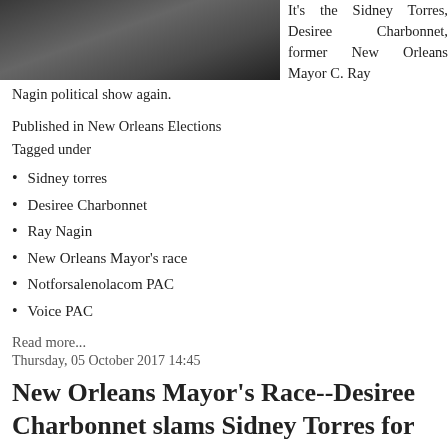[Figure (photo): Photo of a person with dark background, partial view]
It's the Sidney Torres, Desiree Charbonnet, former New Orleans Mayor C. Ray Nagin political show again.
Published in New Orleans Elections
Tagged under
Sidney torres
Desiree Charbonnet
Ray Nagin
New Orleans Mayor's race
Notforsalenolacom PAC
Voice PAC
Read more...
Thursday, 05 October 2017 14:45
New Orleans Mayor's Race--Desiree Charbonnet slams Sidney Torres for Ray Nagin hypocrisy